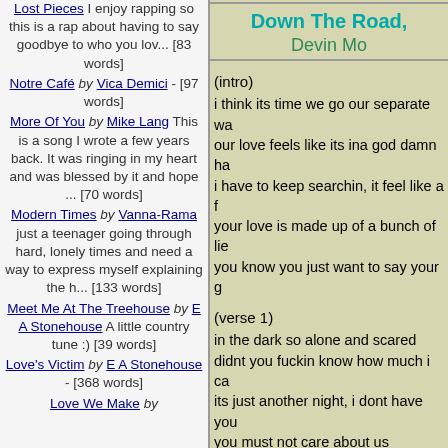Lost Pieces I enjoy rapping so this is a rap about having to say goodbye to who you lov... [83 words]
Notre Café by Vica Demici - [97 words]
More Of You by Mike Lang This is a song I wrote a few years back. It was ringing in my heart and was blessed by it and hope ... [70 words]
Modern Times by Vanna-Rama just a teenager going through hard, lonely times and need a way to express myself explaining the h... [133 words]
Meet Me At The Treehouse by E A Stonehouse A little country tune :) [39 words]
Love's Victim by E A Stonehouse - [368 words]
Love We Make by
When Love Does (Songs) - [135 words] [Rela
Why Did You Go? (Songs) - [127 words] [Rela
Worth Remembering (Songs) - [161 words] [R
You Got So Much Baby (Songs) - [120 words]
Your Heart With Mine (Songs) - [157 words] [R
Down The Road, Devin Mo
(intro)
i think its time we go our separate wa
our love feels like its ina god damn ha
i have to keep searchin, it feel like a f
your love is made up of a bunch of lie
you know you just want to say your g
(verse 1)
in the dark so alone and scared
didnt you fuckin know how much i ca
its just another night, i dont have you
you must not care about us
better not be in it for lust
all your mistakes and lies you seem to
you put my fuckin soul to hell
i feel like in the only one in love